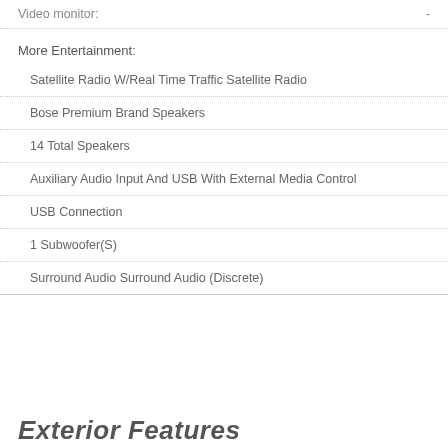Video monitor: -
More Entertainment:
Satellite Radio W/Real Time Traffic Satellite Radio
Bose Premium Brand Speakers
14 Total Speakers
Auxiliary Audio Input And USB With External Media Control
USB Connection
1 Subwoofer(S)
Surround Audio Surround Audio (Discrete)
Exterior Features